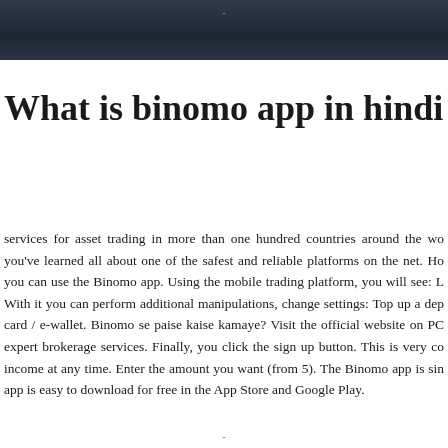-
What is binomo app in hindi
services for asset trading in more than one hundred countries around the world. you've learned all about one of the safest and reliable platforms on the net. How you can use the Binomo app. Using the mobile trading platform, you will see: L. With it you can perform additional manipulations, change settings: Top up a dep card / e-wallet. Binomo se paise kaise kamaye? Visit the official website on PC expert brokerage services. Finally, you click the sign up button. This is very co income at any time. Enter the amount you want (from 5). The Binomo app is sin app is easy to download for free in the App Store and Google Play.
-